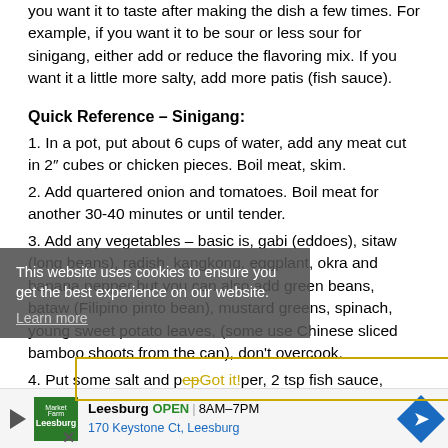you want it to taste after making the dish a few times. For example, if you want it to be sour or less sour for sinigang, either add or reduce the flavoring mix. If you want it a little more salty, add more patis (fish sauce).
Quick Reference – Sinigang:
1. In a pot, put about 6 cups of water, add any meat cut in 2″ cubes or chicken pieces. Boil meat, skim.
2. Add quartered onion and tomatoes. Boil meat for another 30-40 minutes or until tender.
3. Add any vegetables – basic is, gabi (eddoes), sitaw (long beans), radish, kangkong, eggplant, okra and banana pepper but you can also add green beans, bataw (Filipino pinto bean), mustard greens, spinach, young sweet potato leaves, (some use Chinese sliced bamboo shoots from the can), don't overcook.
4. Put some salt and pepper, 2 tsp fish sauce, sinigang
This website uses cookies to ensure you get the best experience on our website. Learn more
Got it!
Leesburg OPEN 8AM–7PM 170 Keystone Ct, Leesburg